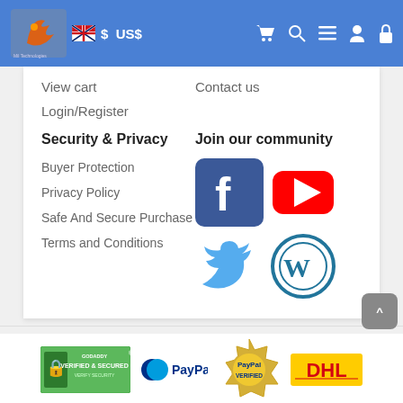$ US$
View cart
Contact us
Login/Register
Security & Privacy
Join our community
Buyer Protection
Privacy Policy
Safe And Secure Purchase
Terms and Conditions
[Figure (logo): Facebook logo icon]
[Figure (logo): YouTube logo icon]
[Figure (logo): Twitter logo icon]
[Figure (logo): WordPress logo icon]
[Figure (logo): GoDaddy Verified & Secured badge]
[Figure (logo): PayPal logo]
[Figure (logo): PayPal Verified badge]
[Figure (logo): DHL logo]
Singapore